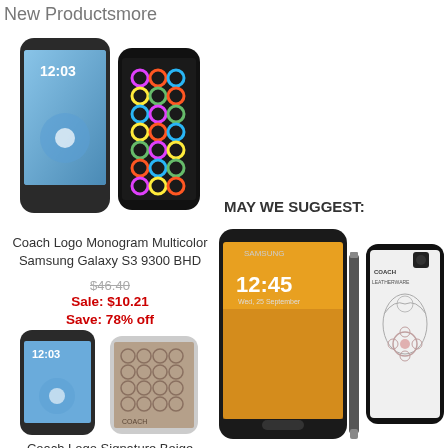New Productsmore
[Figure (photo): Coach Logo Monogram Multicolor Samsung Galaxy S3 phone case product image showing two phones]
Coach Logo Monogram Multicolor Samsung Galaxy S3 9300 BHD
$46.40
Sale: $10.21
Save: 78% off
[Figure (photo): Coach Logo Signature Beige Samsung Galaxy S3 phone case product image showing two phones]
Coach Logo Signature Beige Samsung Galaxy S3 9300 BGP
MAY WE SUGGEST:
[Figure (photo): Samsung Galaxy Note 3 phone with Coach Leatherware case suggestion image]